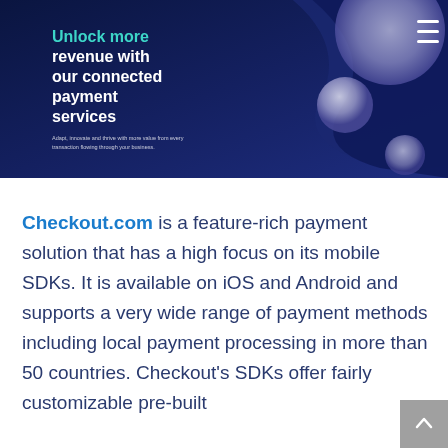[Figure (illustration): Dark navy blue banner with abstract 3D shapes (spheres and curved surfaces) on the right side. Bold white and teal text reads 'Unlock more revenue with our connected payment services' with subtitle 'Adapt, innovate and thrive with more value from every transaction flowing through your business.' A hamburger menu icon appears in the top right corner.]
Checkout.com is a feature-rich payment solution that has a high focus on its mobile SDKs. It is available on iOS and Android and supports a very wide range of payment methods including local payment processing in more than 50 countries. Checkout's SDKs offer fairly customizable pre-built